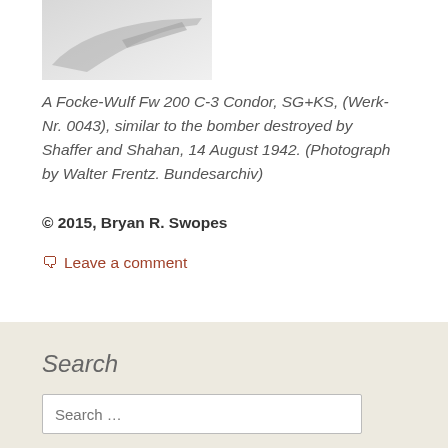[Figure (photo): Partial view of a Focke-Wulf Fw 200 C-3 Condor aircraft, showing the nose/front section against a light background.]
A Focke-Wulf Fw 200 C-3 Condor, SG+KS, (Werk-Nr. 0043), similar to the bomber destroyed by Shaffer and Shahan, 14 August 1942. (Photograph by Walter Frentz. Bundesarchiv)
© 2015, Bryan R. Swopes
Leave a comment
Search
Search …